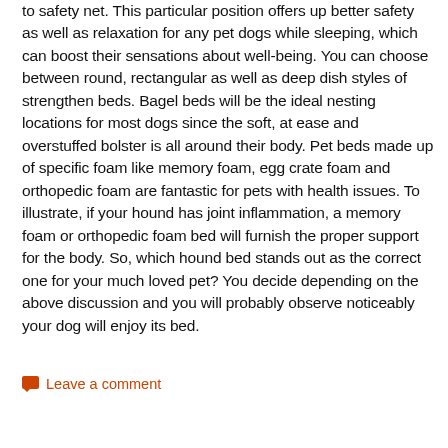to safety net. This particular position offers up better safety as well as relaxation for any pet dogs while sleeping, which can boost their sensations about well-being. You can choose between round, rectangular as well as deep dish styles of strengthen beds. Bagel beds will be the ideal nesting locations for most dogs since the soft, at ease and overstuffed bolster is all around their body. Pet beds made up of specific foam like memory foam, egg crate foam and orthopedic foam are fantastic for pets with health issues. To illustrate, if your hound has joint inflammation, a memory foam or orthopedic foam bed will furnish the proper support for the body. So, which hound bed stands out as the correct one for your much loved pet? You decide depending on the above discussion and you will probably observe noticeably your dog will enjoy its bed.
Leave a comment